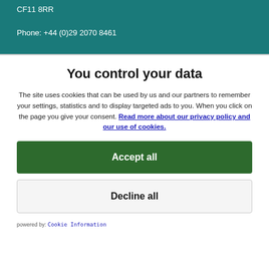CF11 8RR

Phone: +44 (0)29 2070 8461
You control your data
The site uses cookies that can be used by us and our partners to remember your settings, statistics and to display targeted ads to you. When you click on the page you give your consent. Read more about our privacy policy and our use of cookies.
Accept all
Decline all
powered by: Cookie Information